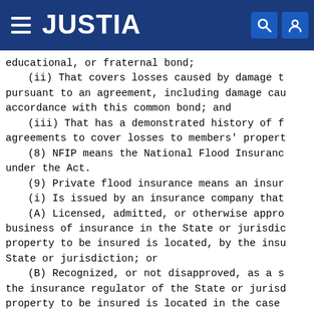JUSTIA
educational, or fraternal bond;
    (ii) That covers losses caused by damage t... pursuant to an agreement, including damage cau... accordance with this common bond; and
    (iii) That has a demonstrated history of f... agreements to cover losses to members' propert...
    (8) NFIP means the National Flood Insuranc... under the Act.
    (9) Private flood insurance means an insur...
    (i) Is issued by an insurance company that...
    (A) Licensed, admitted, or otherwise appro... business of insurance in the State or jurisdic... property to be insured is located, by the insu... State or jurisdiction; or
    (B) Recognized, or not disapproved, as a s... the insurance regulator of the State or jurisd... property to be insured is located in the case...